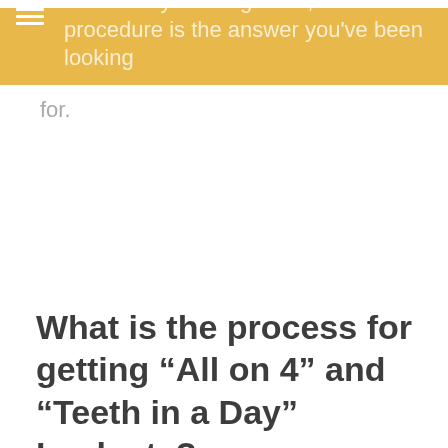have many missing teeth, the All-on-4 procedure is the answer you've been looking for.
for.
What is the process for getting “All on 4” and “Teeth in a Day” Implants?
“All on 4” and “Teeth in a Day” are terms used to describe a procedure that allows patients